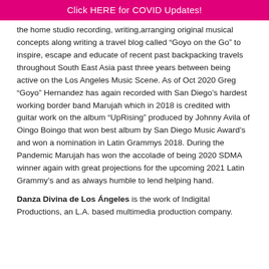Click HERE for COVID Updates!
the home studio recording, writing,arranging original musical concepts along writing a travel blog called “Goyo on the Go” to inspire, escape and educate of recent past backpacking travels throughout South East Asia past three years between being active on the Los Angeles Music Scene. As of Oct 2020 Greg “Goyo” Hernandez has again recorded with San Diego’s hardest working border band Marujah which in 2018 is credited with guitar work on the album “UpRising” produced by Johnny Avila of Oingo Boingo that won best album by San Diego Music Award’s and won a nomination in Latin Grammys 2018. During the Pandemic Marujah has won the accolade of being 2020 SDMA winner again with great projections for the upcoming 2021 Latin Grammy’s and as always humble to lend helping hand.
Danza Divina de Los Ángeles is the work of Indigital Productions, an L.A. based multimedia production company.